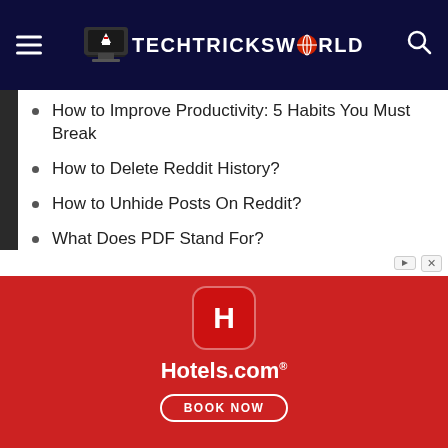TECHTRICKSWORLD
How to Improve Productivity: 5 Habits You Must Break
How to Delete Reddit History?
How to Unhide Posts On Reddit?
What Does PDF Stand For?
How to Find My AirPods Case?
Three Ways to Convert PDF to Word?
How to Record Google Meet? [Full Guide]
What Does OBJ Mean On Facebook?
[Figure (illustration): Hotels.com advertisement banner with red background, Hotels.com logo icon, Hotels.com text, and BOOK NOW button]